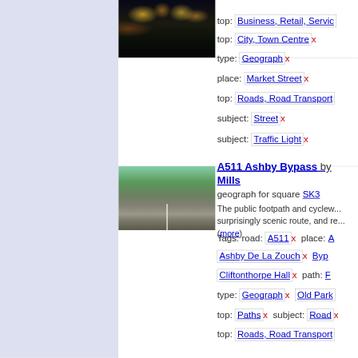[Figure (photo): Night street scene with shop lights and traffic lights on a wet road]
top: Business, Retail, Service
top: City, Town Centre x
type: Geograph x
place: Market Street x
top: Roads, Road Transport
subject: Street x
subject: Traffic Light x
A511 Ashby Bypass by Mills
geograph for square SK3
The public footpath and cyclewa... surprisingly scenic route, and re... (more)
Tags: road: A511 x   place: A
[Figure (photo): Rural road (A511 Ashby Bypass) with trees and open countryside]
Ashby De La Zouch x   Byp
Cliftonthorpe Hall x   path: F
type: Geograph x   Old Park
top: Paths x   subject: Road
top: Roads, Road Transport